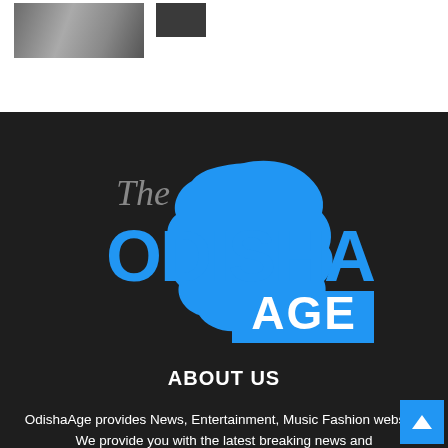[Figure (photo): Group of people standing, partial view at top of page]
[Figure (logo): The Odisha Age logo — blue map of Odisha with ODISHA AGE text]
ABOUT US
OdishaAge provides News, Entertainment, Music Fashion website. We provide you with the latest breaking news and